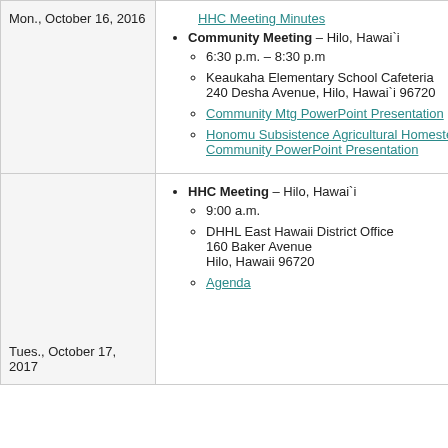| Date | Events |
| --- | --- |
| Mon., October 16, 2016 | Community Meeting – Hilo, Hawai`i
6:30 p.m. – 8:30 p.m
Keaukaha Elementary School Cafeteria
240 Desha Avenue, Hilo, Hawai`i 96720
Community Mtg PowerPoint Presentation
Honomu Subsistence Agricultural Homestead Community PowerPoint Presentation |
| Tues., October 17, 2017 | HHC Meeting – Hilo, Hawai`i
9:00 a.m.
DHHL East Hawaii District Office
160 Baker Avenue
Hilo, Hawaii 96720
Agenda |